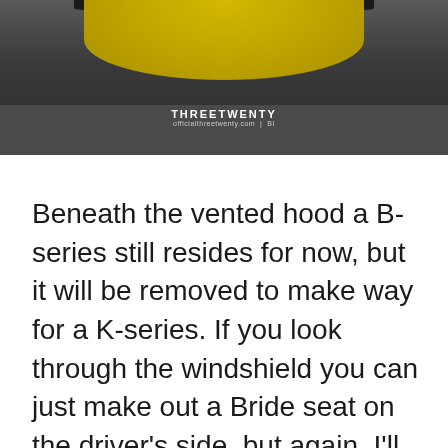[Figure (photo): Close-up photo of a yellow vented hood on a dark/asphalt background, with THREETWENTY watermark overlay showing 'officialthreetwenty.com | BI']
Beneath the vented hood a B-series still resides for now, but it will be removed to make way for a K-series. If you look through the windshield you can just make out a Bride seat on the driver's side, but again, I'll save the other areas of the car for future posts.